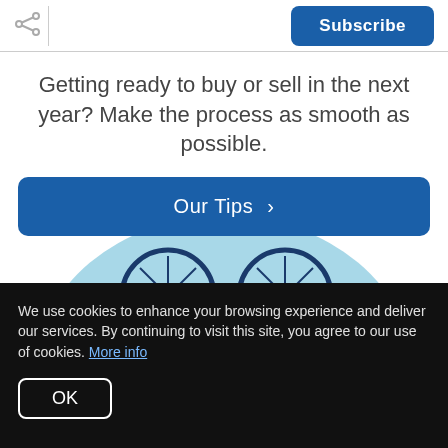Share | Subscribe
Getting ready to buy or sell in the next year? Make the process as smooth as possible.
Our Tips ›
[Figure (illustration): Illustration of two bicycle wheels on a light blue semicircle background]
We use cookies to enhance your browsing experience and deliver our services. By continuing to visit this site, you agree to our use of cookies. More info
OK